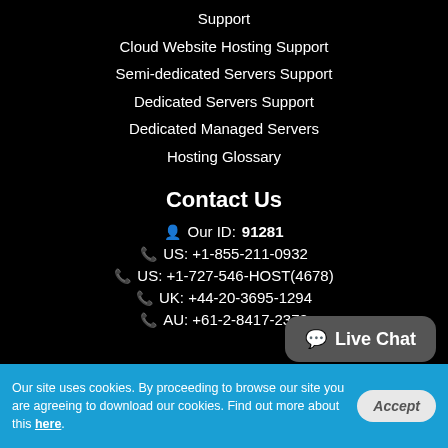Support
Cloud Website Hosting Support
Semi-dedicated Servers Support
Dedicated Servers Support
Dedicated Managed Servers
Hosting Glossary
Contact Us
Our ID: 91281
US: +1-855-211-0932
US: +1-727-546-HOST(4678)
UK: +44-20-3695-1294
AU: +61-2-8417-2372
[Figure (other): Live Chat button bubble]
Our site uses cookies. By proceeding to browse our site you are agreeing to download our cookies. Find out more about this here.